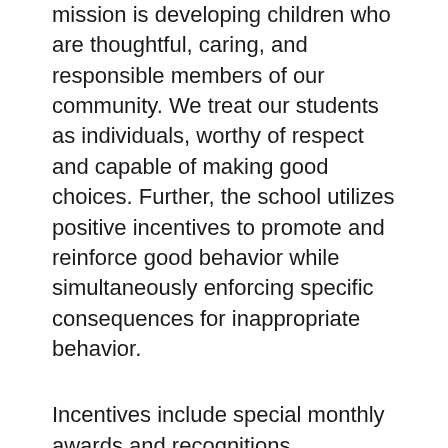mission is developing children who are thoughtful, caring, and responsible members of our community. We treat our students as individuals, worthy of respect and capable of making good choices. Further, the school utilizes positive incentives to promote and reinforce good behavior while simultaneously enforcing specific consequences for inappropriate behavior.
Incentives include special monthly awards and recognitions, achievement privileges and prizes. Consequences include recess or lunch detention, campus beautification, citations, and, in rare instances, school or home suspension. In addition to this balanced approach, we believe that behaviors are learned and reinforced. As adults, we strive to model desirable behavior and take advantage of “teachable moments.” With the implementation of our social-emotional learning